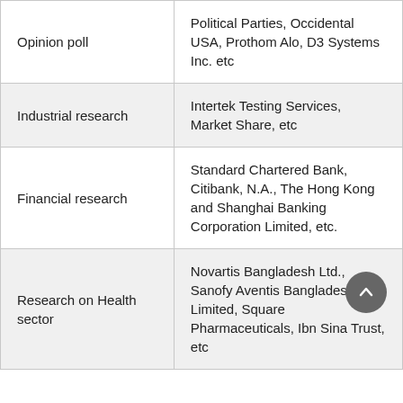| Opinion poll | Political Parties, Occidental USA, Prothom Alo, D3 Systems Inc. etc |
| Industrial research | Intertek Testing Services, Market Share, etc |
| Financial research | Standard Chartered Bank, Citibank, N.A., The Hong Kong and Shanghai Banking Corporation Limited, etc. |
| Research on Health sector | Novartis Bangladesh Ltd., Sanofy Aventis Bangladesh, ACI Limited, Square Pharmaceuticals, Ibn Sina Trust, etc |